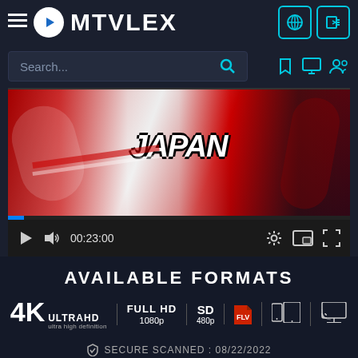[Figure (screenshot): MTVLEX streaming website header with logo, search bar, and video player showing anime content. Includes Available Formats section showing 4K UltraHD, Full HD 1080p, SD 480p, FLV, tablet, and Chromecast icons. Bottom shows Secure Scanned: 08/22/2022.]